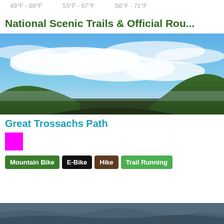49°F - 69°F   53°F - 67°F   56°F - 71°F
National Scenic Trails & Official Rou...
[Figure (photo): Panoramic landscape photo of rolling green hills under a dramatic blue sky with white clouds — the Great Trossachs Path scenery.]
Great Trossachs Path
[Figure (illustration): Small solid magenta/pink color swatch square.]
Mountain Bike
E-Bike
Hike
Trail Running
[Figure (photo): Partial view of another trail photo at the bottom of the page, cropped.]